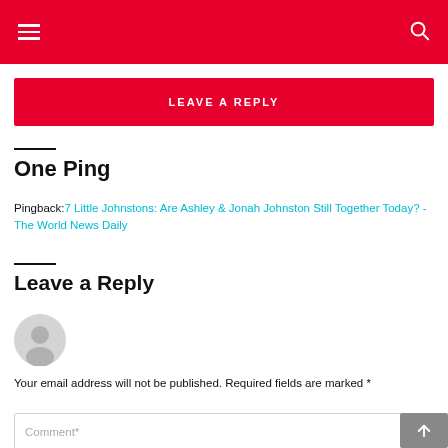LEAVE A REPLY
One Ping
Pingback: 7 Little Johnstons: Are Ashley & Jonah Johnston Still Together Today? - The World News Daily
Leave a Reply
[Figure (illustration): User avatar placeholder circle icon]
Your email address will not be published. Required fields are marked *
Comment*